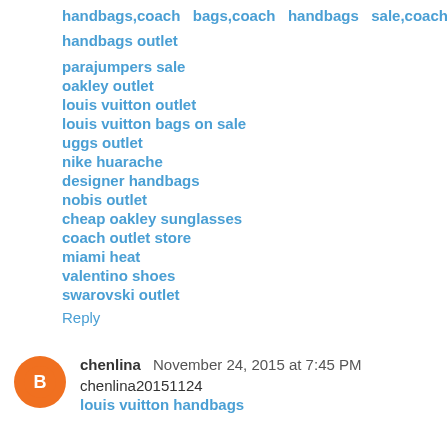handbags,coach  bags,coach  handbags  sale,coach handbags outlet
parajumpers sale
oakley outlet
louis vuitton outlet
louis vuitton bags on sale
uggs outlet
nike huarache
designer handbags
nobis outlet
cheap oakley sunglasses
coach outlet store
miami heat
valentino shoes
swarovski outlet
Reply
chenlina  November 24, 2015 at 7:45 PM
chenlina20151124
louis vuitton handbags